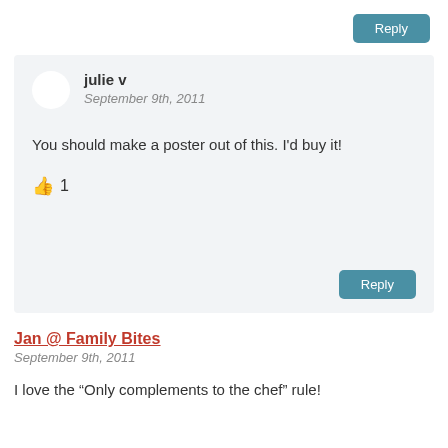Reply
julie v
September 9th, 2011
You should make a poster out of this. I'd buy it!
👍 1
Reply
Jan @ Family Bites
September 9th, 2011
I love the "Only complements to the chef" rule!